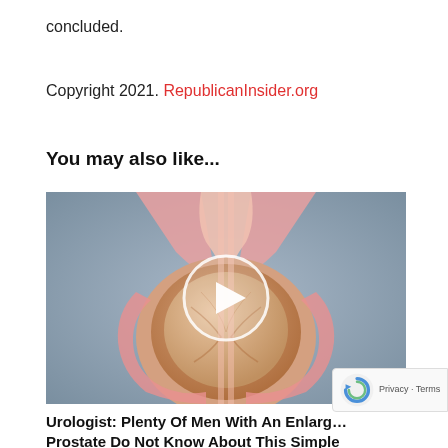concluded.
Copyright 2021. RepublicanInsider.org
You may also like...
[Figure (illustration): Medical illustration of enlarged prostate anatomy with a video play button overlay, showing a cross-section of the male urinary tract. Bluish-grey background with pink anatomical structures.]
Urologist: Plenty Of Men With An Enlarged Prostate Do Not Know About This Simple